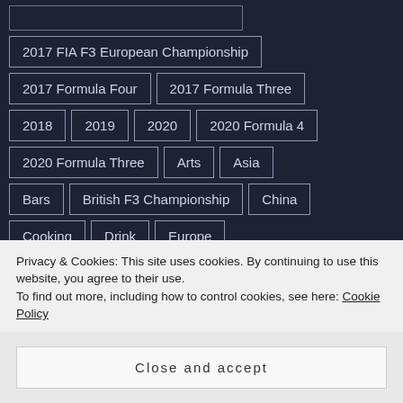2017 FIA F3 European Championship
2017 Formula Four
2017 Formula Three
2018
2019
2020
2020 Formula 4
2020 Formula Three
Arts
Asia
Bars
British F3 Championship
China
Cooking
Drink
Europe
FIA F3 European Championship
Food
Food and Drink
Formula 3
France
Privacy & Cookies: This site uses cookies. By continuing to use this website, you agree to their use. To find out more, including how to control cookies, see here: Cookie Policy
Close and accept